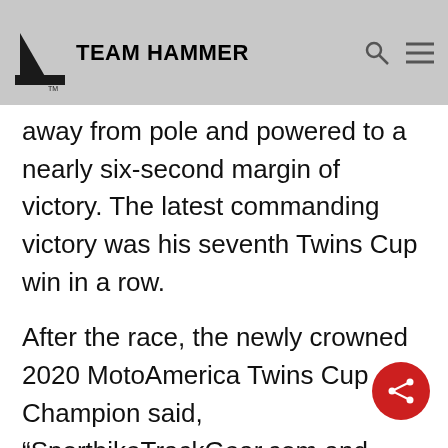TEAM HAMMER
away from pole and powered to a nearly six-second margin of victory. The latest commanding victory was his seventh Twins Cup win in a row.
After the race, the newly crowned 2020 MotoAmerica Twins Cup Champion said, “SportbikeTrackGear.com and Team Hammer have put this